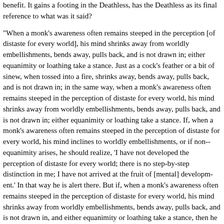benefit. It gains a footing in the Deathless, has the Deathless as its fi- nal reference to what was it said?
"When a monk's awareness often remains steeped in the perception [of distaste for every world], his mind shrinks away from worldly embellishments, bends away, pulls back, and is not drawn in; either equanimity or loathing take a stance. Just as a cock's feather or a bit of sinew, when tossed into a fire, shrinks away, bends away, pulls back, and is not drawn in; in the same way, when a monk's awareness often remains steeped in the perception of distaste for every world, his mind shrinks away from worldly embellishments, bends away, pulls back, and is not drawn in; either equanimity or loathing take a stance. If, when a monk's awareness often remains steeped in the perception of distaste for every world, his mind inclines to worldly embellishments, or if non-equanimity arises, he should realize, 'I have not developed the perception of distaste for every world; there is no step-by-step distinction in me; I have not arrived at the fruit of [mental] development.' In that way he is alert there. But if, when a monk's awareness often remains steeped in the perception of distaste for every world, his mind shrinks away from worldly embellishments, bends away, pulls back, and is not drawn in, and either equanimity or loathing take a stance, then he should realize, 'I have developed the perception of distaste for every world; there is a step-by-step distinction in me; I have arrived at the fruit of development.' In that way he is alert there.
'The perception of distaste for every world, when developed & pursued, is of great benefit. It gains a footing in the Deathless, has the Deathless as its final reference to this was it said.
[5] '"The perception of inconstancy, when developed & pursued, is of